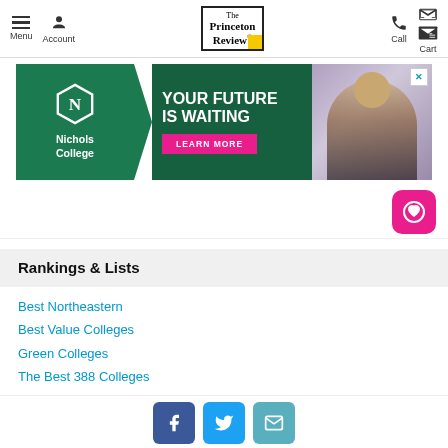Menu | Account | The Princeton Review® | Call | Cart
[Figure (photo): Nichols College advertisement banner: green background with hexagonal N logo, text 'YOUR FUTURE IS WAITING' with LEARN MORE button, and photo of smiling woman]
Rankings & Lists
Best Northeastern
Best Value Colleges
Green Colleges
The Best 388 Colleges
Top 20 Best Value Colleges w/o Aid  #19
Facebook | Twitter | Email